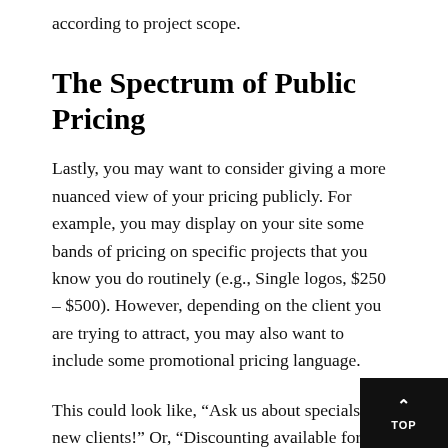according to project scope.
The Spectrum of Public Pricing
Lastly, you may want to consider giving a more nuanced view of your pricing publicly. For example, you may display on your site some bands of pricing on specific projects that you know you do routinely (e.g., Single logos, $250 – $500). However, depending on the client you are trying to attract, you may also want to include some promotional pricing language.
This could look like, “Ask us about specials for new clients!” Or, “Discounting available for women-owned businesses and non-profits.” You could also include details on how clients can pay you, if you offer payment plans, or other ways that the contract process wo